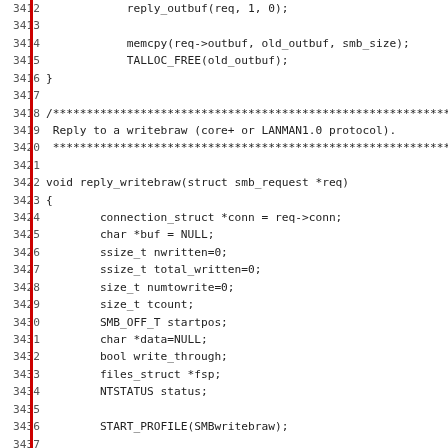[Figure (other): Source code listing in C, lines 3412-3443, showing reply_outbuf, memcpy, TALLOC_FREE, reply_writebraw function start with variable declarations and START_PROFILE call, with a comment block about SMBwritec error reply type.]